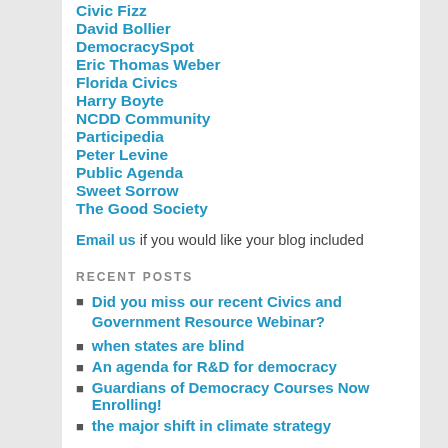Civic Fizz
David Bollier
DemocracySpot
Eric Thomas Weber
Florida Civics
Harry Boyte
NCDD Community
Participedia
Peter Levine
Public Agenda
Sweet Sorrow
The Good Society
Email us if you would like your blog included
RECENT POSTS
Did you miss our recent Civics and Government Resource Webinar?
when states are blind
An agenda for R&D for democracy
Guardians of Democracy Courses Now Enrolling!
the major shift in climate strategy